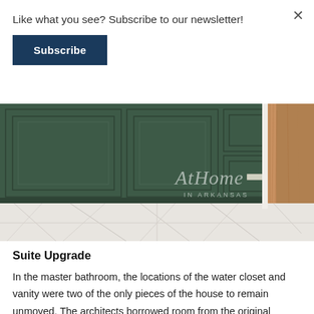Like what you see? Subscribe to our newsletter!
Subscribe
[Figure (photo): Photograph of dark green painted bathroom cabinetry with recessed panel doors and a brushed silver drawer pull, above white marble tile flooring. A wooden door frame is visible on the right. The AtHome IN ARKANSAS watermark logo appears in the lower right of the image.]
Suite Upgrade
In the master bathroom, the locations of the water closet and vanity were two of the only pieces of the house to remain unmoved. The architects borrowed room from the original master bedroom to enlarge the bath, adding a soaking tub, larger shower, and walk-in closet. Jill carried the green found in the